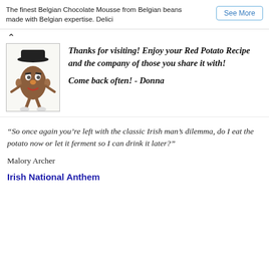The finest Belgian Chocolate Mousse from Belgian beans made with Belgian expertise. Delici
See More
[Figure (illustration): Mr. Potato Head cartoon character wearing a black hat, with eyes, nose, and limbs, standing upright]
Thanks for visiting! Enjoy your Red Potato Recipe and the company of those you share it with!
Come back often! - Donna
“So once again you’re left with the classic Irish man’s dilemma, do I eat the potato now or let it ferment so I can drink it later?”
Malory Archer
Irish National Anthem